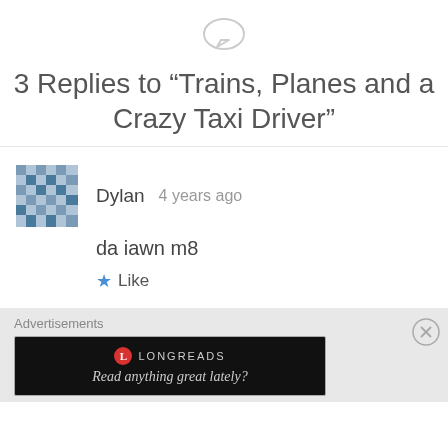[Figure (illustration): Speech bubble / comment icon in light gray outline]
3 Replies to “Trains, Planes and a Crazy Taxi Driver”
[Figure (photo): User avatar: a gray/blue pixel-art style checkered avatar image for user Dylan]
Dylan    4 years ago
da iawn m8
★ Like
Advertisements
[Figure (screenshot): Advertisement banner: black background with Longreads logo (red circle with L) and text 'Read anything great lately?']